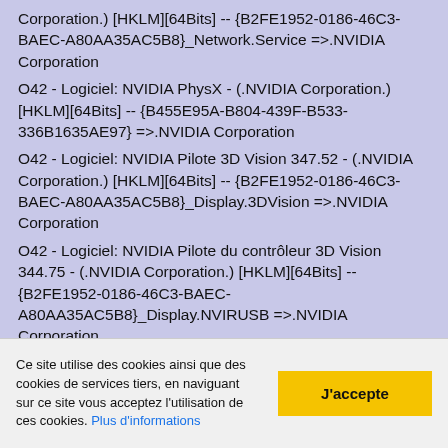Corporation.) [HKLM][64Bits] -- {B2FE1952-0186-46C3-BAEC-A80AA35AC5B8}_Network.Service =>.NVIDIA Corporation
O42 - Logiciel: NVIDIA PhysX - (.NVIDIA Corporation.) [HKLM][64Bits] -- {B455E95A-B804-439F-B533-336B1635AE97} =>.NVIDIA Corporation
O42 - Logiciel: NVIDIA Pilote 3D Vision 347.52 - (.NVIDIA Corporation.) [HKLM][64Bits] -- {B2FE1952-0186-46C3-BAEC-A80AA35AC5B8}_Display.3DVision =>.NVIDIA Corporation
O42 - Logiciel: NVIDIA Pilote du contrôleur 3D Vision 344.75 - (.NVIDIA Corporation.) [HKLM][64Bits] -- {B2FE1952-0186-46C3-BAEC-A80AA35AC5B8}_Display.NVIRUSB =>.NVIDIA Corporation
O42 - Logiciel: NVIDIA Pilote graphique 347.52 - (.NVIDIA Corporation.) [HKLM][64Bits] -- {B2FE1952-0186-46C3-BAEC-A80AA35AC5B8}_Display.Driver =>.NVIDIA Corporation
O42 - Logiciel: NVIDIA ShadowPlay 2.4.3.22 - (.NVIDIA Corporation.) [HKLM][64Bits] -- {B2FE1952-0186-46C3-BAEC-A80AA35AC5B8}_ShadowPlay =>.NVIDIA Corporation
O42 - Logiciel: NVIDIA Stereoscopic 3D Driver - (.NVIDIA Corporation.) [HKLM][64Bits] -- ...
Ce site utilise des cookies ainsi que des cookies de services tiers, en naviguant sur ce site vous acceptez l'utilisation de ces cookies. Plus d'informations